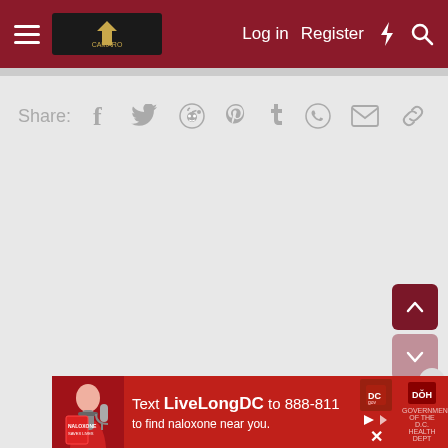Navigation bar with hamburger menu, logo, Log in, Register, lightning bolt icon, search icon
Share: [Facebook] [Twitter] [Reddit] [Pinterest] [Tumblr] [WhatsApp] [Email] [Link]
[Figure (screenshot): Advertisement banner at bottom: Text LiveLongDC to 888-811 to find naloxone near you. Shows a person with a microphone on the left, red background, logos on the right side.]
Text LiveLongDC to 888-811 to find naloxone near you.